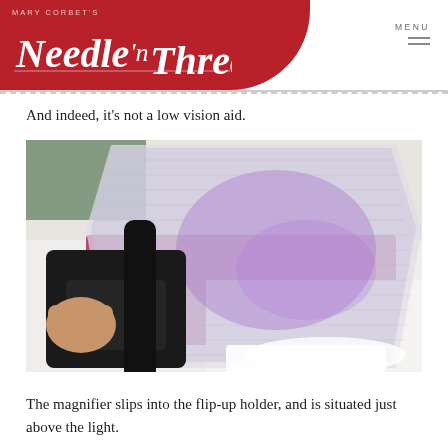Mary Corbet's Needle 'n Thread
And indeed, it's not a low vision aid.
[Figure (photo): A hand holding a black flip-up holder device open, with a large translucent Fresnel magnifier lens panel raised up. The magnifier reflects purple-pink light. Beneath it is a pink/magenta mat on a white surface. The watermark 'needlenthread.com' appears in the lower right corner.]
The magnifier slips into the flip-up holder, and is situated just above the light.